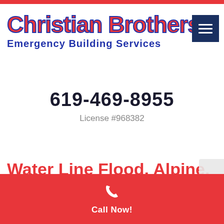[Figure (logo): Christian Brothers Emergency Building Services logo with red stylized text and blue subtitle]
619-469-8955
License #968382
Water Line Flood, Alpine, San Diego
Call Now!